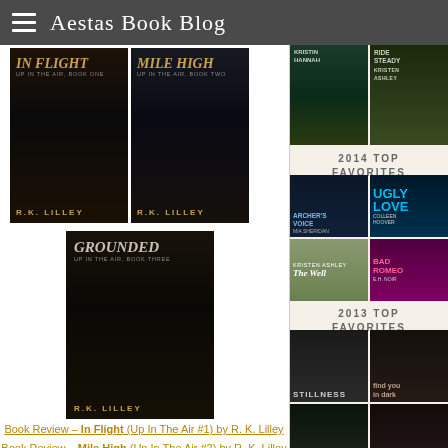Aestas Book Blog
[Figure (illustration): Three book covers by R.K. Lilley: 'In Flight (Up In The Air Book One)', 'Mile High (Up In The Air Book Two)', and 'Grounded (Up In The Air Book Three)']
Book Review – In Flight (Up In The Air #1) by R. K. Lilley
Book Review – Mile High (Up In The Air #2) by R. K. Lilley
Book Review – Grounded (Up In The Air #3) by RK Lilley
2014 TOP FAVORITES
[Figure (illustration): 2014 Top Favorites sidebar showing book covers including Archer's Voice by Mia Sheridan, Ugly Love by Colleen Hoover, The Well by Kristen Ashley, and Bad Romeo]
2013 TOP FAVORITES
[Figure (illustration): 2013 Top Favorites sidebar showing book covers including Stillness and Find You in the Dark]